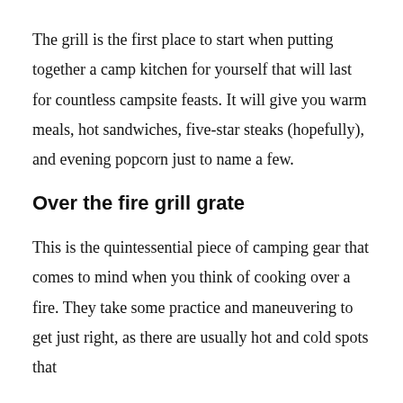The grill is the first place to start when putting together a camp kitchen for yourself that will last for countless campsite feasts. It will give you warm meals, hot sandwiches, five-star steaks (hopefully), and evening popcorn just to name a few.
Over the fire grill grate
This is the quintessential piece of camping gear that comes to mind when you think of cooking over a fire. They take some practice and maneuvering to get just right, as there are usually hot and cold spots that...